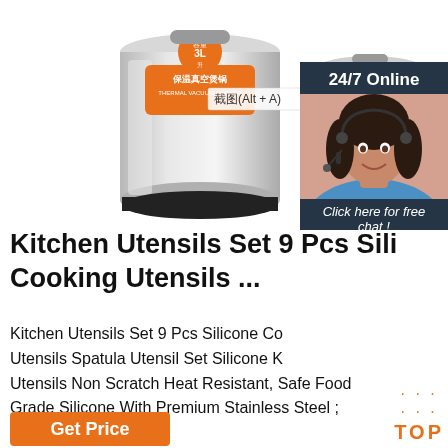[Figure (photo): Two stainless steel vacuum insulated food containers/thermos pots with orange Chinese branding labels. Left container is larger and has a screenshot label overlay reading 截图(Alt + A). Right container is smaller. A 24/7 Online customer service chat widget with a woman wearing a headset is shown on the right side.]
Kitchen Utensils Set 9 Pcs Silicone Cooking Utensils ...
Kitchen Utensils Set 9 Pcs Silicone Cooking Utensils Spatula Utensil Set Silicone Kitchen Utensils Non Scratch Heat Resistant, Safe Food Grade Silicone With Premium Stainless Steel : ...
[Figure (other): Orange 'Get Price' button at bottom left]
[Figure (other): Orange and dark blue 'TOP' scroll-to-top button at bottom right with orange dot pattern above text]